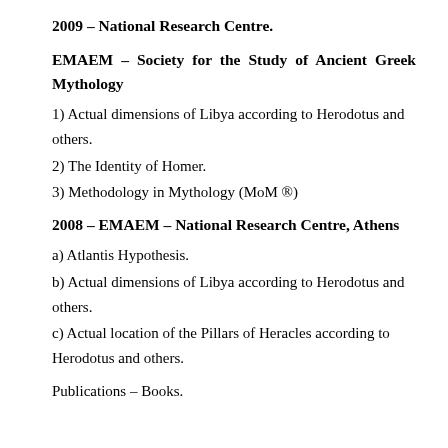2009 – National Research Centre.
EMAEM – Society for the Study of Ancient Greek Mythology
1) Actual dimensions of Libya according to Herodotus and others.
2) The Identity of Homer.
3) Methodology in Mythology (MoM ®)
2008 – EMAEM – National Research Centre, Athens
a) Atlantis Hypothesis.
b) Actual dimensions of Libya according to Herodotus and others.
c) Actual location of the Pillars of Heracles according to Herodotus and others.
Publications – Books.